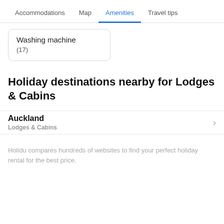Accommodations | Map | Amenities | Travel tips
Washing machine
(17)
Holiday destinations nearby for Lodges & Cabins
Auckland
Lodges & Cabins
Holidu compares hundreds of websites to find your perfect holiday rental for the best price.